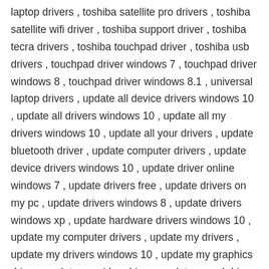laptop drivers , toshiba satellite pro drivers , toshiba satellite wifi driver , toshiba support driver , toshiba tecra drivers , toshiba touchpad driver , toshiba usb drivers , touchpad driver windows 7 , touchpad driver windows 8 , touchpad driver windows 8.1 , universal laptop drivers , update all device drivers windows 10 , update all drivers windows 10 , update all my drivers windows 10 , update all your drivers , update bluetooth driver , update computer drivers , update device drivers windows 10 , update driver online windows 7 , update drivers free , update drivers on my pc , update drivers windows 8 , update drivers windows xp , update hardware drivers windows 10 , update my computer drivers , update my drivers , update my drivers windows 10 , update my graphics driver , update my video driver , update sound driver windows 10 , update system drivers , update usb drivers , update video driver windows 7 , update wifi driver windows 10 , update windows drivers windows 10 , update windows graphics driver , updating audio drivers windows 10 , upgrade drivers windows 10 , upgrade video driver , usb driver for hp laptop , used